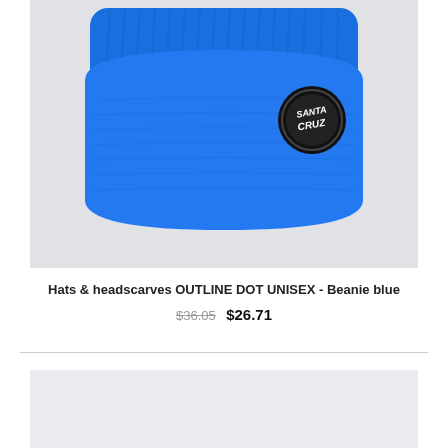[Figure (photo): Blue Santa Cruz beanie hat with black circular logo patch on a light grey background]
Hats & headscarves OUTLINE DOT UNISEX - Beanie blue
$36.05  $26.71
[Figure (photo): Partially visible product image at bottom of page, light grey background]